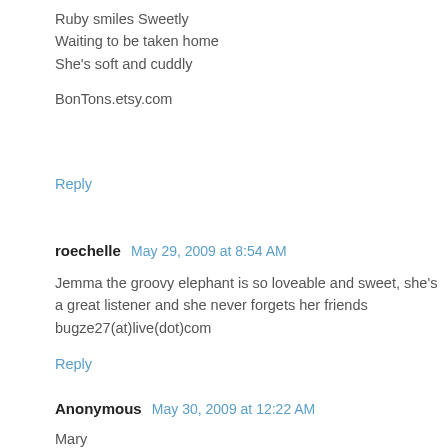Ruby smiles Sweetly
Waiting to be taken home
She's soft and cuddly

BonTons.etsy.com
Reply
roechelle  May 29, 2009 at 8:54 AM
Jemma the groovy elephant is so loveable and sweet, she's a great listener and she never forgets her friends bugze27(at)live(dot)com
Reply
Anonymous  May 30, 2009 at 12:22 AM
Mary
zenrei57 (at) hotmail (dot) com
DAUT...